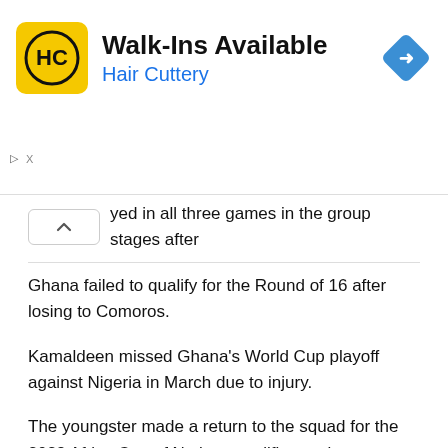[Figure (logo): Hair Cuttery advertisement banner with HC logo, title 'Walk-Ins Available', subtitle 'Hair Cuttery', and a blue navigation diamond icon]
yed in all three games in the group stages after Ghana failed to qualify for the Round of 16 after losing to Comoros.
Kamaldeen missed Ghana's World Cup playoff against Nigeria in March due to injury.
The youngster made a return to the squad for the 2023 Africa Cup of Nations qualifier against Madagascar and Central Africa Republic.
Kamaldeen Sulemana is counted among the best players to watch in the Ghana team ahead of the World Cup.